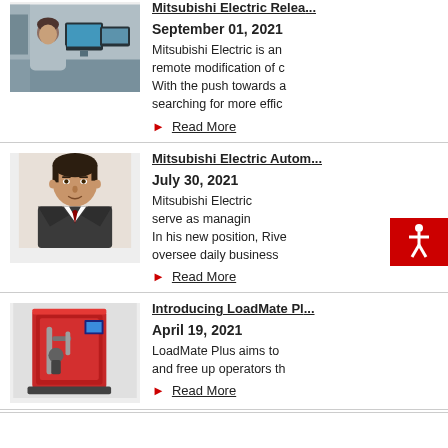[Figure (photo): Man working at a computer with monitors in an office/industrial setting]
Mitsubishi Electric Relea...
September 01, 2021
Mitsubishi Electric is an... remote modification of c... With the push towards a... searching for more effic...
Read More
[Figure (photo): Portrait of a man in a suit and tie]
Mitsubishi Electric Autom...
July 30, 2021
Mitsubishi Electric... serve as managin... In his new position, Rive... oversee daily business...
Read More
[Figure (photo): Red industrial robot/LoadMate Plus machine with robotic arm]
Introducing LoadMate Pl...
April 19, 2021
LoadMate Plus aims to... and free up operators th...
Read More